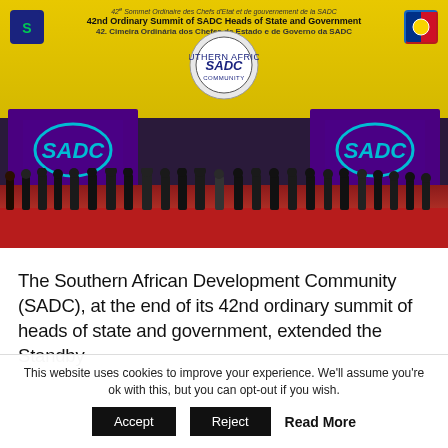[Figure (photo): Group photo at the 42nd Ordinary Summit of SADC Heads of State and Government. Leaders standing on a red-carpeted stage in front of a large yellow SADC banner. Two large purple screens display the SADC logo on either side. The banner reads: '42e Sommet Ordinaire des Chefs d'Etat et de gouvernement de la SADC / 42nd Ordinary Summit of SADC Heads of State and Government / 42. Cimeira Ordinária dos Chefes de Estado e de Governo da SADC']
The Southern African Development Community (SADC), at the end of its 42nd ordinary summit of heads of state and government, extended the Standby
This website uses cookies to improve your experience. We'll assume you're ok with this, but you can opt-out if you wish.